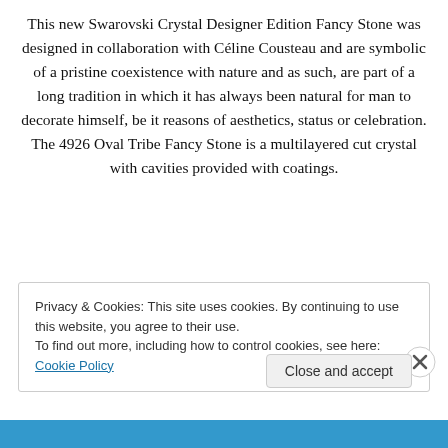This new Swarovski Crystal Designer Edition Fancy Stone was designed in collaboration with Céline Cousteau and are symbolic of a pristine coexistence with nature and as such, are part of a long tradition in which it has always been natural for man to decorate himself, be it reasons of aesthetics, status or celebration. The 4926 Oval Tribe Fancy Stone is a multilayered cut crystal with cavities provided with coatings.
Privacy & Cookies: This site uses cookies. By continuing to use this website, you agree to their use.
To find out more, including how to control cookies, see here: Cookie Policy
Close and accept